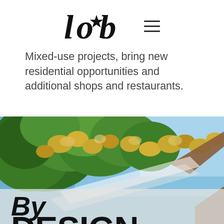lob (logo) with hamburger menu icon
Mixed-use projects, bring new residential opportunities and additional shops and restaurants.
[Figure (photo): Upward view of tree branches with green and yellow-orange leaves against a clear blue sky, with wooden structural elements visible in the foreground corners]
By DESIGN